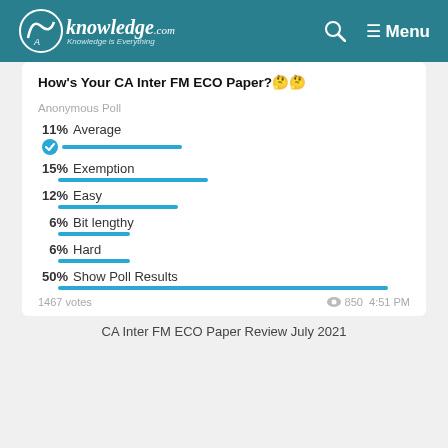CAknowledge.com — Knowledge is Everything | Menu
How's Your CA Inter FM ECO Paper?🤔🤔
[Figure (bar-chart): Anonymous Poll — How's Your CA Inter FM ECO Paper?]
1467 votes  👁 850  4:51 PM
CA Inter FM ECO Paper Review July 2021